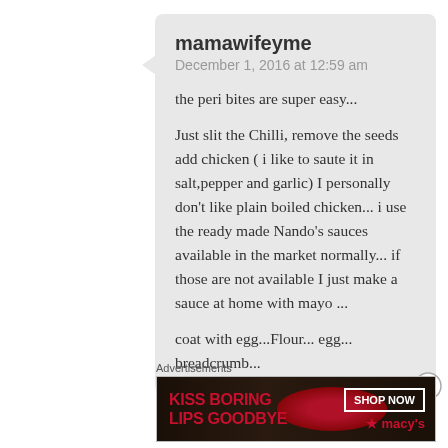mamawifeyme
December 1, 2016 at 12:59 am
the peri bites are super easy...
Just slit the Chilli, remove the seeds add chicken ( i like to saute it in salt,pepper and garlic) I personally don't like plain boiled chicken... i use the ready made Nando's sauces available in the market normally... if those are not available I just make a sauce at home with mayo ...
coat with egg...Flour... egg... breadcrumb...
Advertisements
[Figure (illustration): Advertisement banner for Macy's featuring text 'KISS BORING LIPS GOODBYE' with a woman's face showing red lips, and a 'SHOP NOW' button with the Macy's star logo]